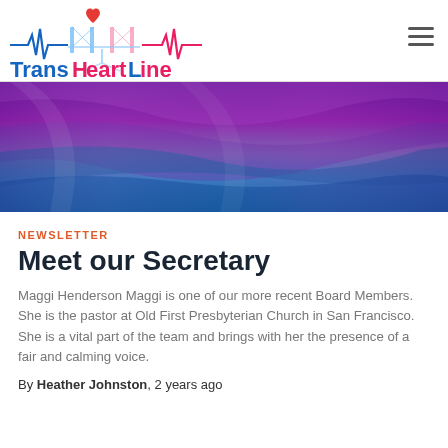Trans HeartLine
[Figure (photo): Colorful fabric in purple, blue, and dark tones suggesting a pride flag draped in waves]
NEWSLETTER
Meet our Secretary
Maggi Henderson Maggi is one of our more recent Board Members. She is the pastor at Old First Presbyterian Church in San Francisco. She is a vital part of the team and brings with her the presence of a fair and calming voice.
By Heather Johnston, 2 years ago